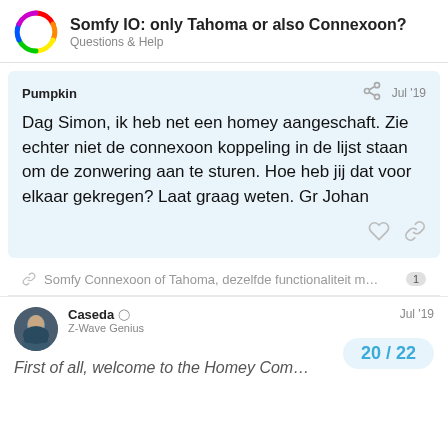Somfy IO: only Tahoma or also Connexoon? | Questions & Help
Pumpkin
Jul '19
Dag Simon, ik heb net een homey aangeschaft. Zie echter niet de connexoon koppeling in de lijst staan om de zonwering aan te sturen. Hoe heb jij dat voor elkaar gekregen? Laat graag weten. Gr Johan
Somfy Connexoon of Tahoma, dezelfde functionaliteit m… 1
Caseda
Z-Wave Genius
Jul '19
First of all, welcome to the Homey Com…
20 / 22